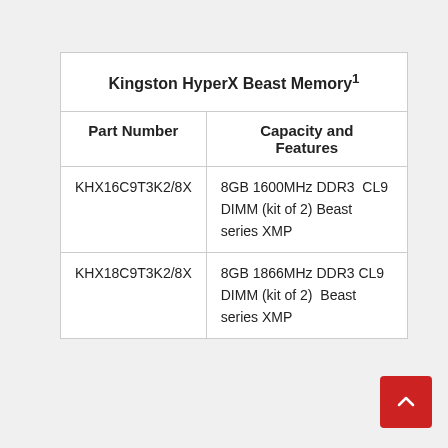| Part Number | Capacity and Features |
| --- | --- |
| KHX16C9T3K2/8X | 8GB 1600MHz DDR3  CL9 DIMM (kit of 2) Beast series XMP |
| KHX18C9T3K2/8X | 8GB 1866MHz DDR3 CL9 DIMM (kit of 2)  Beast series XMP |